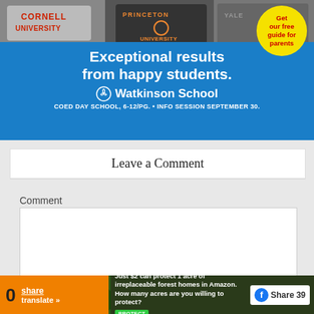[Figure (photo): Advertisement banner for Watkinson School. Top portion shows students wearing Cornell University and Princeton University sweatshirts. Blue background with text 'Exceptional results from happy students.' and Watkinson School logo. Yellow circular badge reads 'Get our free guide for parents'. Subtext: 'COED DAY SCHOOL, 6-12/PG. • INFO SESSION SEPTEMBER 30.']
Leave a Comment
Comment
[Figure (screenshot): Bottom overlay advertisement: 'Just $2 can protect 1 acre of irreplaceable forest homes in Amazon. How many acres are you willing to protect?' with a green forest image, PROTECT button, and Facebook Share 39 button. Orange share overlay with '0 share translate >>']